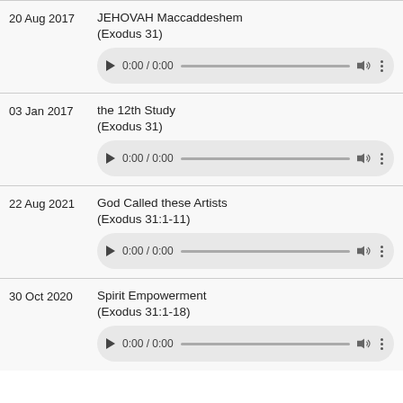20 Aug 2017 — JEHOVAH Maccaddeshem (Exodus 31)
03 Jan 2017 — the 12th Study (Exodus 31)
22 Aug 2021 — God Called these Artists (Exodus 31:1-11)
30 Oct 2020 — Spirit Empowerment (Exodus 31:1-18)